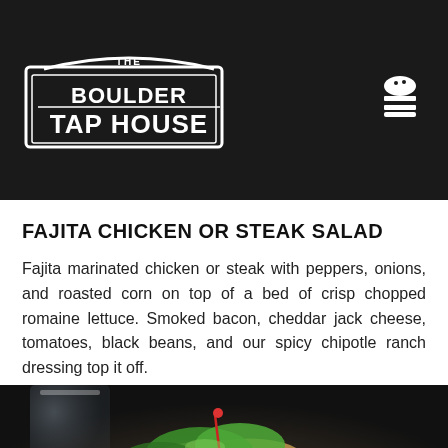[Figure (logo): The Boulder Tap House logo — white text on dark background, rectangular badge style with 'THE BOULDER TAP HOUSE' text]
FAJITA CHICKEN OR STEAK SALAD
Fajita marinated chicken or steak with peppers, onions, and roasted corn on top of a bed of crisp chopped romaine lettuce. Smoked bacon, cheddar jack cheese, tomatoes, black beans, and our spicy chipotle ranch dressing top it off.
[Figure (photo): Restaurant food photo showing a fajita dish with tortillas, fresh green lettuce, vegetables, and seasoned protein served on a metal plate, with a glass drink visible in the background]